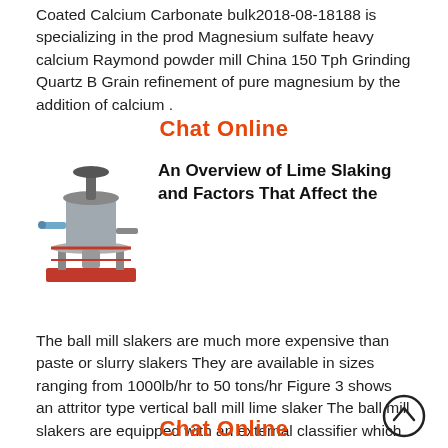Coated Calcium Carbonate bulk2018-08-18188 is specializing in the prod Magnesium sulfate heavy calcium Raymond powder mill China 150 Tph Grinding Quartz B Grain refinement of pure magnesium by the addition of calcium .
Chat Online
[Figure (photo): Industrial grinding mill or lime slaker machine, vertical cylindrical equipment with pipes and a red base platform.]
An Overview of Lime Slaking and Factors That Affect the
The ball mill slakers are much more expensive than paste or slurry slakers They are available in sizes ranging from 1000lb/hr to 50 tons/hr Figure 3 shows an attritor type vertical ball mill lime slaker The ball mill slakers are equipped with an external classifier which
Chat Online